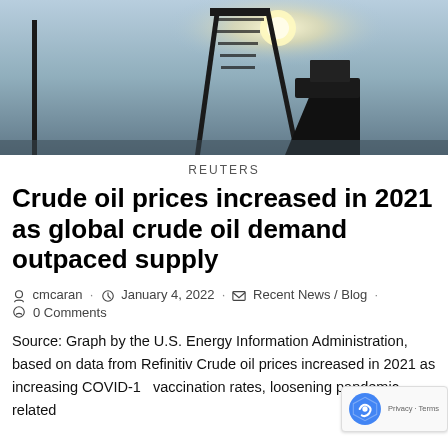[Figure (photo): Silhouette of an oil derrick/pump jack against a bright sky with sun glare]
REUTERS
Crude oil prices increased in 2021 as global crude oil demand outpaced supply
cmcaran · January 4, 2022 · Recent News / Blog · 0 Comments
Source: Graph by the U.S. Energy Information Administration, based on data from Refinitiv Crude oil prices increased in 2021 as increasing COVID-19 vaccination rates, loosening pandemic-related